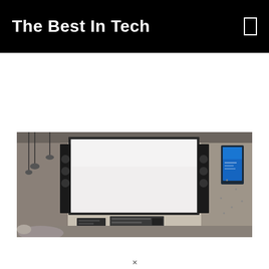The Best In Tech
[Figure (photo): Home theater room with a large projection screen on a concrete wall, flanked by two tall speaker towers. Pendant lights hang from the ceiling on the left. A blue accent display is mounted on the right wall. An AV receiver/media unit is visible below the screen, and gray seating is partially visible in the foreground.]